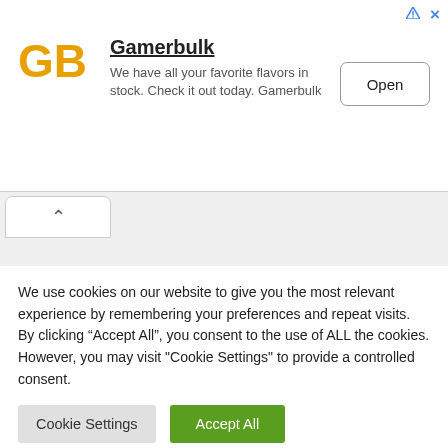[Figure (logo): Gamerbulk GB logo in orange/yellow with text 'Gamerbulk' and description 'We have all your favorite flavors in stock. Check it out today. Gamerbulk' and an Open button]
We use cookies on our website to give you the most relevant experience by remembering your preferences and repeat visits. By clicking “Accept All”, you consent to the use of ALL the cookies. However, you may visit "Cookie Settings" to provide a controlled consent.
Cookie Settings
Accept All